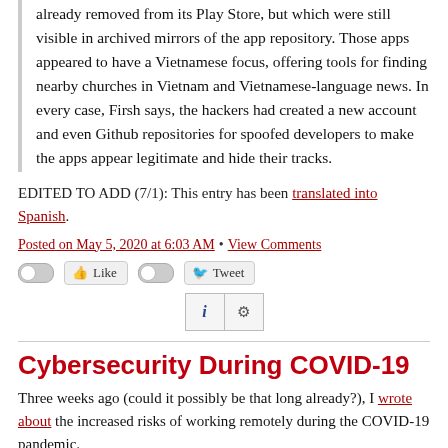already removed from its Play Store, but which were still visible in archived mirrors of the app repository. Those apps appeared to have a Vietnamese focus, offering tools for finding nearby churches in Vietnam and Vietnamese-language news. In every case, Firsh says, the hackers had created a new account and even Github repositories for spoofed developers to make the apps appear legitimate and hide their tracks.
EDITED TO ADD (7/1): This entry has been translated into Spanish.
Posted on May 5, 2020 at 6:03 AM • View Comments
[Figure (other): Social sharing bar with Like and Tweet toggle buttons, and info/settings buttons]
Cybersecurity During COVID-19
Three weeks ago (could it possibly be that long already?), I wrote about the increased risks of working remotely during the COVID-19 pandemic.